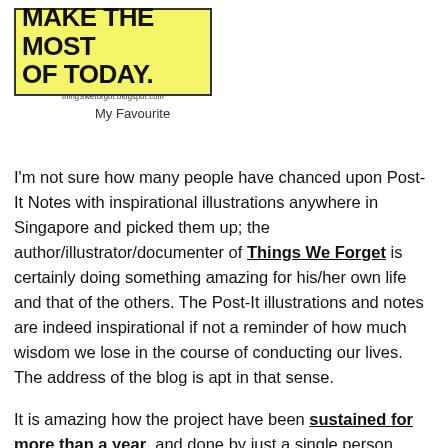[Figure (illustration): Yellow Post-It note style image with bold handwritten text reading 'MAKE THE MOST OF TODAY.' and blog URL 'thingsweforgot.blogspot.com' at the bottom]
My Favourite
I'm not sure how many people have chanced upon Post-It Notes with inspirational illustrations anywhere in Singapore and picked them up; the author/illustrator/documenter of Things We Forget is certainly doing something amazing for his/her own life and that of the others. The Post-It illustrations and notes are indeed inspirational if not a reminder of how much wisdom we lose in the course of conducting our lives. The address of the blog is apt in that sense.
It is amazing how the project have been sustained for more than a year, and done by just a single person.